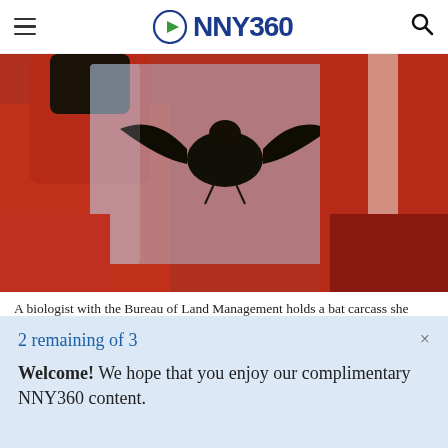NNY360
[Figure (photo): A biologist in a red coat holds a bat carcass inside a clear plastic bag, examined outdoors in New Mexico in 2011.]
A biologist with the Bureau of Land Management holds a bat carcass she discovered in New Mexico in 2011 while searching for signs of the
2 remaining of 3
Welcome! We hope that you enjoy our complimentary NNY360 content.
COVID variant...